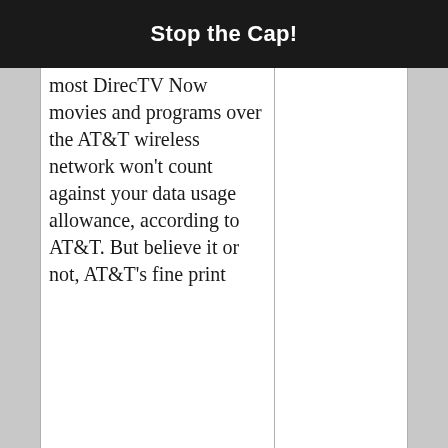Stop the Cap!
most DirecTV Now movies and programs over the AT&T wireless network won't count against your data usage allowance, according to AT&T. But believe it or not, AT&T's fine print